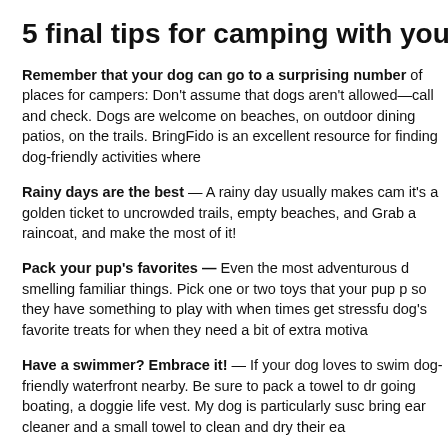5 final tips for camping with your dog
Remember that your dog can go to a surprising number of places: Don't assume that dogs aren't allowed—call and check. Dogs are welcome on beaches, on outdoor dining patios, on the trails. BringFido is an excellent resource for finding dog-friendly activities where you travel.
Rainy days are the best — A rainy day usually makes campers groan, but it's a golden ticket to uncrowded trails, empty beaches, and happy dogs. Grab a raincoat, and make the most of it!
Pack your pup's favorites — Even the most adventurous dogs find comfort in smelling familiar things. Pick one or two toys that your pup particularly loves so they have something to play with when times get stressful. Also bring your dog's favorite treats for when they need a bit of extra motivation.
Have a swimmer? Embrace it! — If your dog loves to swim, look for a dog-friendly waterfront nearby. Be sure to pack a towel to dry them off and, if going boating, a doggie life vest. My dog is particularly susceptible to ear infections, so I bring ear cleaner and a small towel to clean and dry their ears.